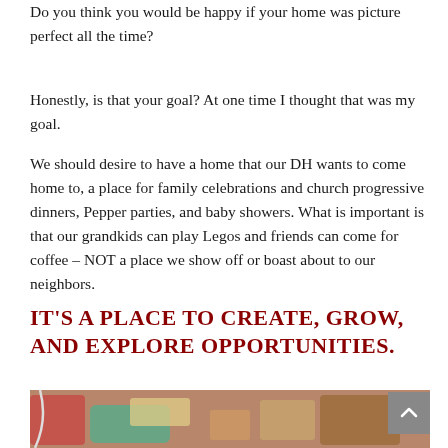Do you think you would be happy if your home was picture perfect all the time?
Honestly, is that your goal? At one time I thought that was my goal.
We should desire to have a home that our DH wants to come home to, a place for family celebrations and church progressive dinners, Pepper parties, and baby showers. What is important is that our grandkids can play Legos and friends can come for coffee – NOT a place we show off or boast about to our neighbors.
IT'S A PLACE TO CREATE, GROW, AND EXPLORE OPPORTUNITIES.
[Figure (photo): A photo of craft or hobby supplies on a table, partially visible at the bottom of the page.]